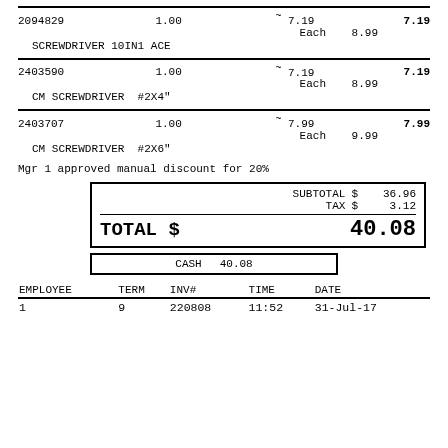| 2094829 | 1.00 | ~ 7.19 | 7.19 |
|  | Each | 8.99 |  |
| SCREWDRIVER 10IN1 ACE |  |  |  |
| 2403590 | 1.00 | ~ 7.19 | 7.19 |
|  | Each | 8.99 |  |
| CM SCREWDRIVER  #2X4" |  |  |  |
| 2403707 | 1.00 | ~ 7.99 | 7.99 |
|  | Each | 9.99 |  |
| CM SCREWDRIVER  #2X6" |  |  |  |
Mgr 1 approved manual discount for 20%
| SUBTOTAL $ | TAX $ | TOTAL $ |
| --- | --- | --- |
| 36.96 |
| 3.12 |
| 40.08 |
| CASH | 40.08 |
| EMPLOYEE | TERM | INV# | TIME | DATE |
| --- | --- | --- | --- | --- |
| 1 | 9 | 220808 | 11:52 | 31-Jul-17 |